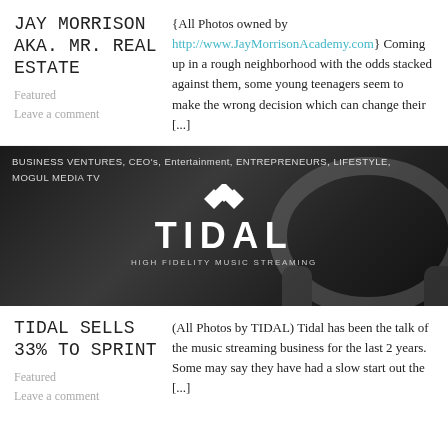JAY MORRISON AKA. MR. REAL ESTATE
{All Photos owned by http://www.JayMorrisonAcademy.com} Coming up in a rough neighborhood with the odds stacked against them, some young teenagers seem to make the wrong decision which can change their [...]
Featured
Leave a comment
[Figure (photo): TIDAL High Fidelity Music Streaming banner image with dark background and headphones. Tags: BUSINESS VENTURES, CEO's, Entertainment, ENTREPRENEURS, LIFESTYLE, MOGUL MEDIA TV]
TIDAL SELLS 33% TO SPRINT
(All Photos by TIDAL) Tidal has been the talk of the music streaming business for the last 2 years. Some may say they have had a slow start out the [...]
Featured
Leave a comment